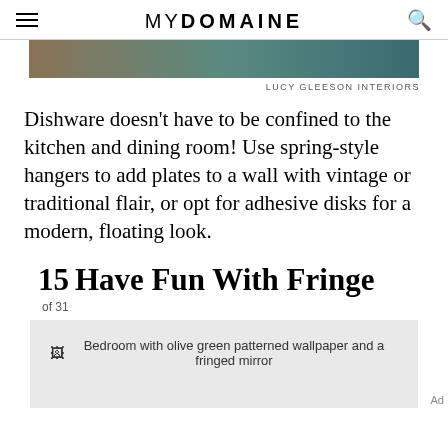MYDOMAINE
[Figure (photo): Partial interior photo at top of page, showing warm and teal tones]
LUCY GLEESON INTERIORS
Dishware doesn’t have to be confined to the kitchen and dining room! Use spring-style hangers to add plates to a wall with vintage or traditional flair, or opt for adhesive disks for a modern, floating look.
15  Have Fun With Fringe
of 31
[Figure (photo): Bedroom with olive green patterned wallpaper and a fringed mirror]